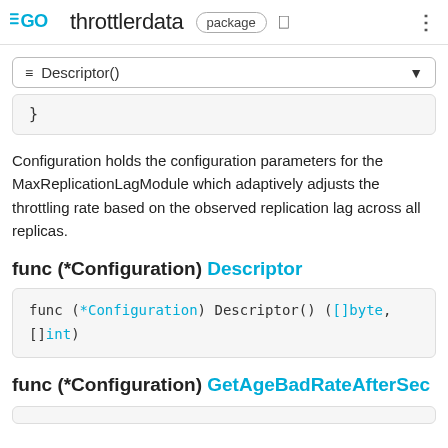GO throttlerdata package
≡ Descriptor()
}
Configuration holds the configuration parameters for the MaxReplicationLagModule which adaptively adjusts the throttling rate based on the observed replication lag across all replicas.
func (*Configuration) Descriptor
func (*Configuration) Descriptor() ([]byte, []int)
func (*Configuration) GetAgeBadRateAfterSec